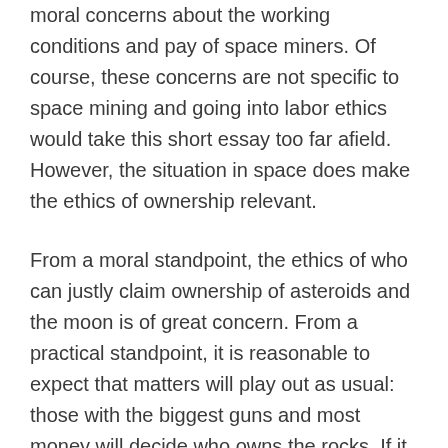moral concerns about the working conditions and pay of space miners. Of course, these concerns are not specific to space mining and going into labor ethics would take this short essay too far afield. However, the situation in space does make the ethics of ownership relevant.
From a moral standpoint, the ethics of who can justly claim ownership of asteroids and the moon is of great concern. From a practical standpoint, it is reasonable to expect that matters will play out as usual: those with the biggest guns and most money will decide who owns the rocks. If it follows